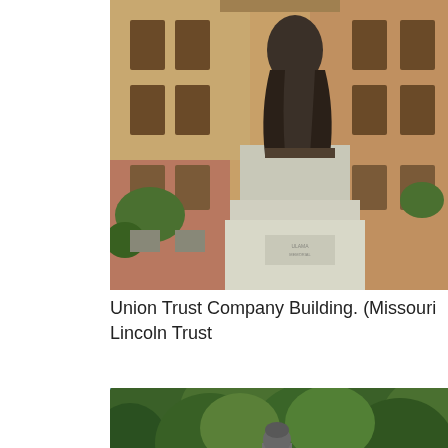[Figure (photo): Photo of a bronze statue on a light stone pedestal in front of a multi-story red brick building (Union Trust Company Building / Missouri Lincoln Trust). The statue depicts a standing figure in robes. Green plants are visible at the base and sides.]
Union Trust Company Building. (Missouri Lincoln Trust
[Figure (photo): Photo of a statue of a soldier/military figure partially visible among dense green trees with a blue sky background.]